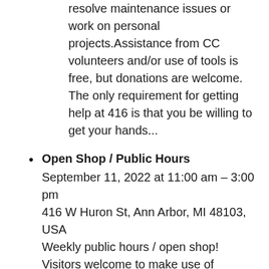resolve maintenance issues or work on personal projects.Assistance from CC volunteers and/or use of tools is free, but donations are welcome. The only requirement for getting help at 416 is that you be willing to get your hands...
Open Shop / Public Hours
September 11, 2022 at 11:00 am – 3:00 pm
416 W Huron St, Ann Arbor, MI 48103, USA
Weekly public hours / open shop! Visitors welcome to make use of community tools and/or seek help from volunteers to resolve maintenance issues or work on personal projects.Assistance from CC volunteers and/or use of tools is free, but donations are welcome. The only requirement